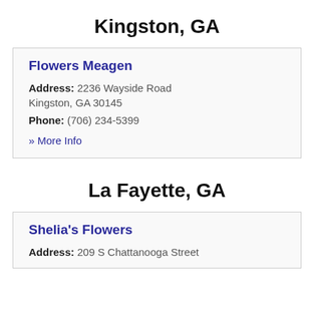Kingston, GA
Flowers Meagen
Address: 2236 Wayside Road Kingston, GA 30145
Phone: (706) 234-5399
» More Info
La Fayette, GA
Shelia's Flowers
Address: 209 S Chattanooga Street